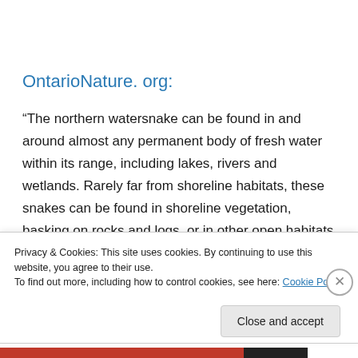OntarioNature. org:
“The northern watersnake can be found in and around almost any permanent body of fresh water within its range, including lakes, rivers and wetlands. Rarely far from shoreline habitats, these snakes can be found in shoreline vegetation, basking on rocks and logs, or in other open habitats along the edges of the water or under rocks along
Privacy & Cookies: This site uses cookies. By continuing to use this website, you agree to their use.
To find out more, including how to control cookies, see here: Cookie Policy
Close and accept